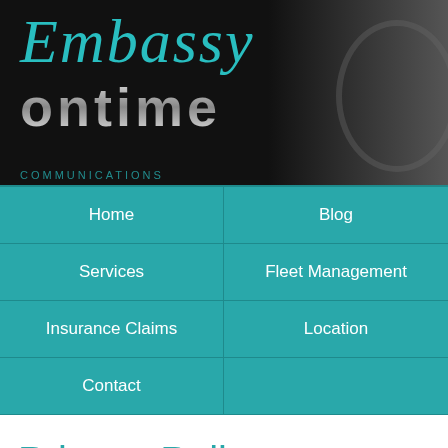[Figure (logo): Embassy Ontime logo with teal script 'Embassy' text and silver metallic 'ontime' text on dark background with circular graphic element]
Home | Blog | Services | Fleet Management | Insurance Claims | Location | Contact
Privacy Policy
Privacy Policy Statement
Your privacy is important to us, so this website is constructed and operated to comply with the Australian